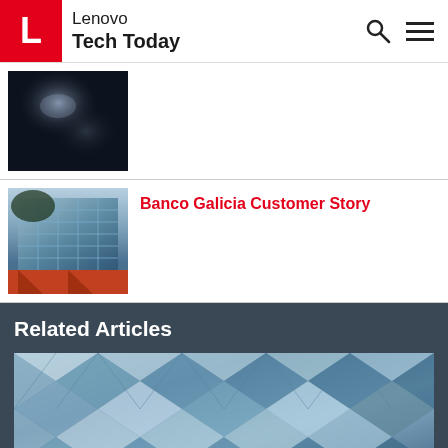Lenovo Tech Today
[Figure (photo): Dark blurry image, possibly outdoor scene with light reflection]
[Figure (photo): Glass building exterior with red architectural element at base, trees reflected]
Banco Galicia Customer Story
Related Articles
[Figure (photo): Close-up of curved glass building facade with diamond/rhombus pattern windows in blue and white tones]